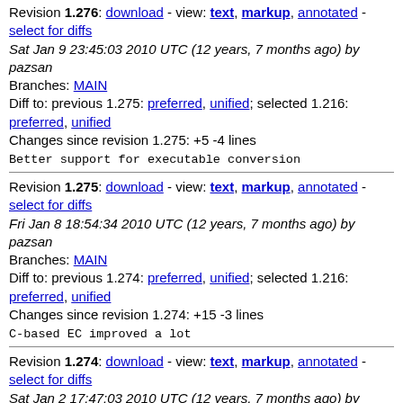Revision 1.276: download - view: text, markup, annotated - select for diffs
Sat Jan 9 23:45:03 2010 UTC (12 years, 7 months ago) by pazsan
Branches: MAIN
Diff to: previous 1.275: preferred, unified; selected 1.216: preferred, unified
Changes since revision 1.275: +5 -4 lines

Better support for executable conversion
Revision 1.275: download - view: text, markup, annotated - select for diffs
Fri Jan 8 18:54:34 2010 UTC (12 years, 7 months ago) by pazsan
Branches: MAIN
Diff to: previous 1.274: preferred, unified; selected 1.216: preferred, unified
Changes since revision 1.274: +15 -3 lines

C-based EC improved a lot
Revision 1.274: download - view: text, markup, annotated - select for diffs
Sat Jan 2 17:47:03 2010 UTC (12 years, 7 months ago) by anton
Branches: MAIN
Diff to: previous 1.273: preferred, unified; selected 1.216: preferred, unified